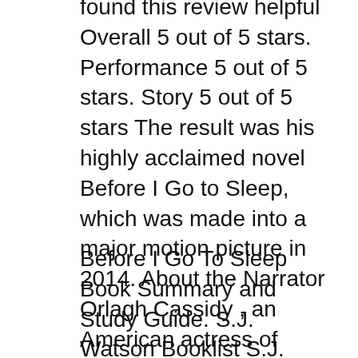found this review helpful Overall 5 out of 5 stars. Performance 5 out of 5 stars. Story 5 out of 5 stars The result was his highly acclaimed novel Before I Go to Sleep, which was made into a major motion picture in 2014. About the Narrator Orlagh Cassidy , an American actress of stage, television, and film, is an audiobook narrator who has twice won the prestigious Audie Award for best narration, as well as many AudioFile Earphones Awards.
Before I Go To Sleep Book Summary and Study Guide. S.J. Watson Booklist S.J. Watson Message Board. Detailed plot synopsis reviews of Before I Go To Sleep; Before I Go To Sleep by S. J.